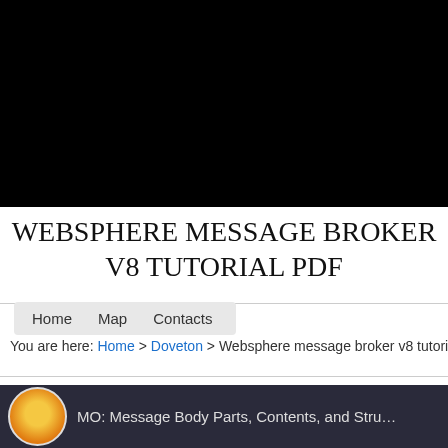[Figure (other): Black banner/video placeholder area at top of page]
WEBSPHERE MESSAGE BROKER V8 TUTORIAL PDF
Home   Map   Contacts
You are here: Home > Doveton > Websphere message broker v8 tutoria…
[Figure (screenshot): Bottom strip showing a circular logo icon and partial text: MO: Message Body Parts, Contents, and Stru…]